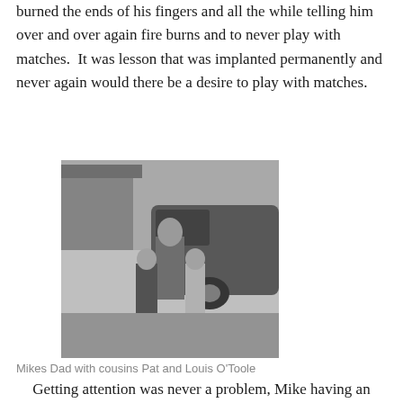burned the ends of his fingers and all the while telling him over and over again fire burns and to never play with matches.  It was lesson that was implanted permanently and never again would there be a desire to play with matches.
[Figure (photo): Black and white photograph of a man standing with two young children in front of a vintage automobile and a building.]
Mikes Dad with cousins Pat and Louis O'Toole
Getting attention was never a problem, Mike having an